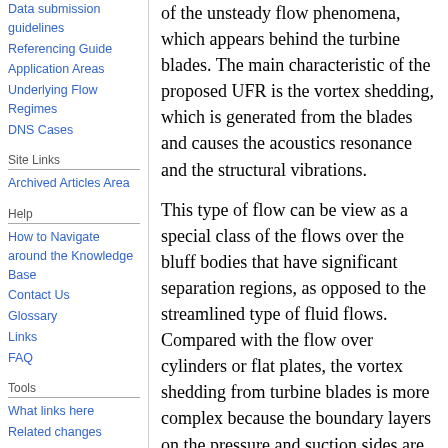Data submission guidelines
Referencing Guide
Application Areas
Underlying Flow Regimes
DNS Cases
Site Links
Archived Articles Area
Help
How to Navigate around the Knowledge Base
Contact Us
Glossary
Links
FAQ
Tools
What links here
Related changes
Special pages
Printable version
Permanent link
of the unsteady flow phenomena, which appears behind the turbine blades. The main characteristic of the proposed UFR is the vortex shedding, which is generated from the blades and causes the acoustics resonance and the structural vibrations.
This type of flow can be view as a special class of the flows over the bluff bodies that have significant separation regions, as opposed to the streamlined type of fluid flows. Compared with the flow over cylinders or flat plates, the vortex shedding from turbine blades is more complex because the boundary layers on the pressure and suction sides are not identical.
It is well known that the flow over cylinders or flat plates is relatively well documented in the literature, but in our